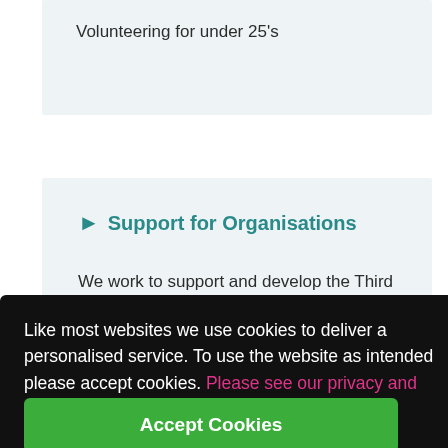Volunteering for under 25's
Support for Organisations
We work to support and develop the Third Sector...
Like most websites we use cookies to deliver a personalised service. To use the website as intended please accept cookies. Please see our privacy and Cookie Policy for more information
Accept Cookies